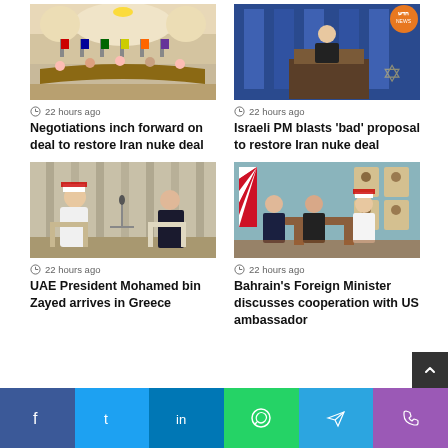[Figure (photo): Conference hall with multiple flags and delegates seated at curved tables]
22 hours ago
Negotiations inch forward on deal to restore Iran nuke deal
[Figure (photo): Israeli PM speaking at podium with Israeli flags behind him]
22 hours ago
Israeli PM blasts 'bad' proposal to restore Iran nuke deal
[Figure (photo): Two officials seated in chairs with curtains behind them in a formal meeting]
22 hours ago
UAE President Mohamed bin Zayed arrives in Greece
[Figure (photo): Officials seated in a formal room with Bahrain flag and portraits on wall]
22 hours ago
Bahrain's Foreign Minister discusses cooperation with US ambassador
f  t  in  (whatsapp)  (telegram)  (phone)